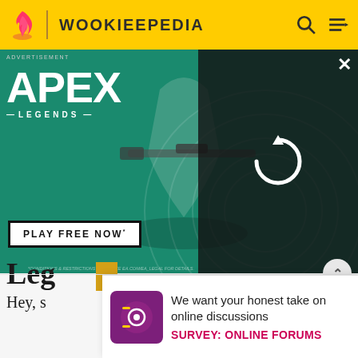WOOKIEEPEDIA
[Figure (screenshot): Apex Legends advertisement banner with green background, character with sniper rifle, 'PLAY FREE NOW' button, and a loading panel on the right side]
reference ideas and situations of Legends that don't fit with the new continuity. ProfessorTofty (talk) 02:33, November 10, 2014 (UTC)
Leg
Hey, s
down
We want your honest take on online discussions
SURVEY: ONLINE FORUMS